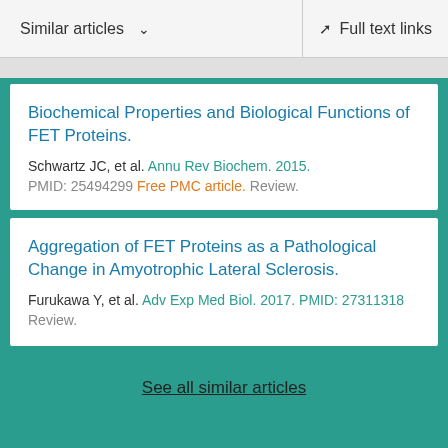Similar articles  ∨    Full text links
Biochemical Properties and Biological Functions of FET Proteins.
Schwartz JC, et al. Annu Rev Biochem. 2015.
PMID: 25494299 Free PMC article. Review.
Aggregation of FET Proteins as a Pathological Change in Amyotrophic Lateral Sclerosis.
Furukawa Y, et al. Adv Exp Med Biol. 2017. PMID: 27311318
Review.
See all similar articles